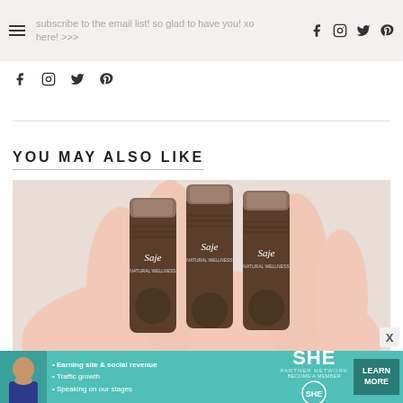Subscribe to the email list! so glad to have you! xo here! >>>
[Figure (other): Social media icons row (facebook, instagram, twitter, pinterest) in header]
[Figure (other): Social media icons row (facebook, instagram, twitter, pinterest) below header]
YOU MAY ALSO LIKE
[Figure (photo): Hand holding three Saje essential oil roller bottles with bronze/copper caps]
[Figure (infographic): SHE Partner Network advertisement banner: Earning site & social revenue, Traffic growth, Speaking on our stages. LEARN MORE button.]